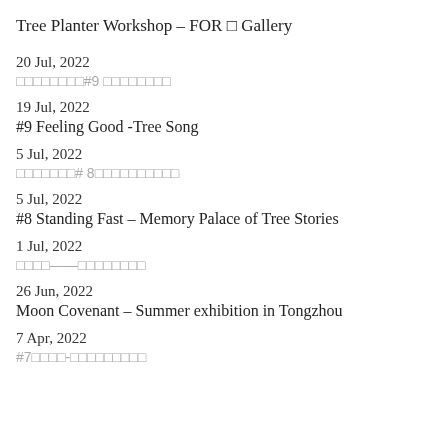Tree Planter Workshop – FOR □ Gallery
20 Jul, 2022 | □□□□□□□□#9 □□□□□□□□
19 Jul, 2022 | #9 Feeling Good -Tree Song
5 Jul, 2022 | □□□□□□□# 8□□□□□□□□□□
5 Jul, 2022 | #8 Standing Fast – Memory Palace of Tree Stories
1 Jul, 2022 | □□□□——□□□□□□□□
26 Jun, 2022 | Moon Covenant – Summer exhibition in Tongzhou
7 Apr, 2022 | #7□□□□-□□□□□□□□□